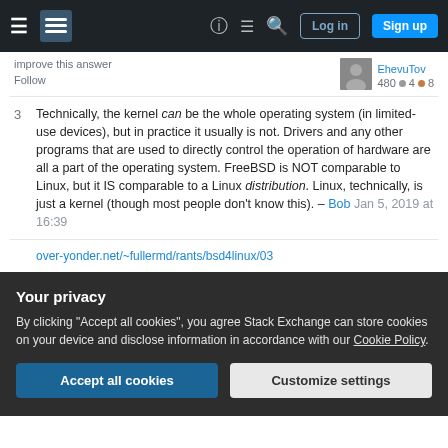Stack Exchange navigation bar with hamburger menu, logo, help, search, log in, sign up buttons
improve this answer
Follow
EhevuTov 480 ● 4 ● 8
3  Technically, the kernel can be the whole operating system (in limited-use devices), but in practice it usually is not. Drivers and any other programs that are used to directly control the operation of hardware are all a part of the operating system. FreeBSD is NOT comparable to Linux, but it IS comparable to a Linux distribution. Linux, technically, is just a kernel (though most people don't know this). – Bob Jan 5, 2019 at 16:39
over-yonder.net/~fullermd/rants/bsd4linux/03
Your privacy
By clicking "Accept all cookies", you agree Stack Exchange can store cookies on your device and disclose information in accordance with our Cookie Policy.
Accept all cookies   Customize settings